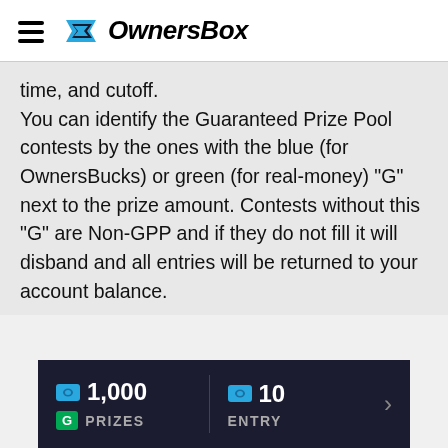OwnersBox
time, and cutoff. You can identify the Guaranteed Prize Pool contests by the ones with the blue (for OwnersBucks) or green (for real-money) "G" next to the prize amount. Contests without this "G" are Non-GPP and if they do not fill it will disband and all entries will be returned to your account balance.
[Figure (screenshot): Dark panel showing contest info: coin icon with 1,000 PRIZES (G badge indicating Guaranteed Prize Pool) and coin icon with 10 ENTRY, with a right arrow]